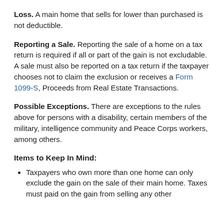Loss. A main home that sells for lower than purchased is not deductible.
Reporting a Sale. Reporting the sale of a home on a tax return is required if all or part of the gain is not excludable. A sale must also be reported on a tax return if the taxpayer chooses not to claim the exclusion or receives a Form 1099-S, Proceeds from Real Estate Transactions.
Possible Exceptions. There are exceptions to the rules above for persons with a disability, certain members of the military, intelligence community and Peace Corps workers, among others.
Items to Keep In Mind:
Taxpayers who own more than one home can only exclude the gain on the sale of their main home. Taxes must paid on the gain from selling any other